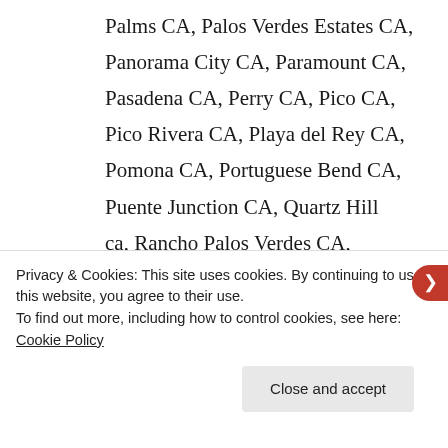Palms CA, Palos Verdes Estates CA, Panorama City CA, Paramount CA, Pasadena CA, Perry CA, Pico CA, Pico Rivera CA, Playa del Rey CA, Pomona CA, Portuguese Bend CA, Puente Junction CA, Quartz Hill ca, Rancho Palos Verdes CA, Raymer CA, Redondo Beach CA, Reseda Ca, Rolling Hills CA, Rolling Hills Estates CA, Rosemead
Privacy & Cookies: This site uses cookies. By continuing to use this website, you agree to their use.
To find out more, including how to control cookies, see here: Cookie Policy
Close and accept